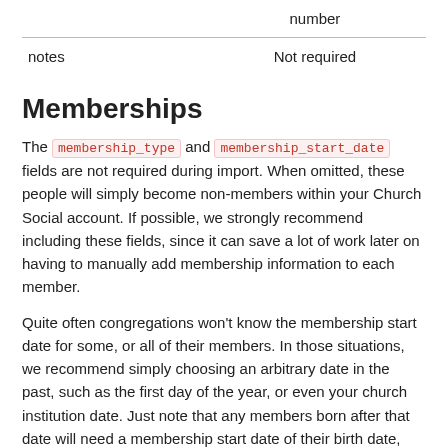| number |  |
| notes | Not required |
Memberships
The membership_type and membership_start_date fields are not required during import. When omitted, these people will simply become non-members within your Church Social account. If possible, we strongly recommend including these fields, since it can save a lot of work later on having to manually add membership information to each member.
Quite often congregations won't know the membership start date for some, or all of their members. In those situations, we recommend simply choosing an arbitrary date in the past, such as the first day of the year, or even your church institution date. Just note that any members born after that date will need a membership start date of their birth date, since the system will not allow you to be a member before you are born.